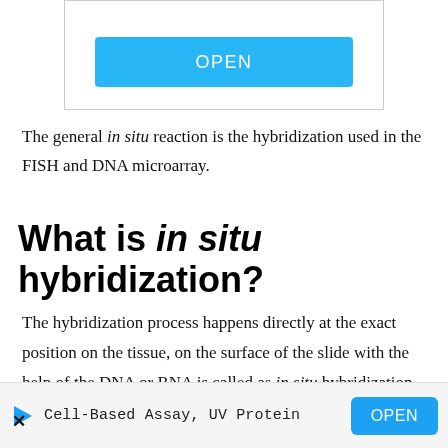[Figure (screenshot): Advertisement banner with blue OPEN button]
The general in situ reaction is the hybridization used in the FISH and DNA microarray.
What is in situ hybridization?
The hybridization process happens directly at the exact position on the tissue, on the surface of the slide with the help of the DNA or RNA is called as in situ hybridization.
[Figure (screenshot): Advertisement footer banner: Cell-Based Assay, UV Protein with blue OPEN button]